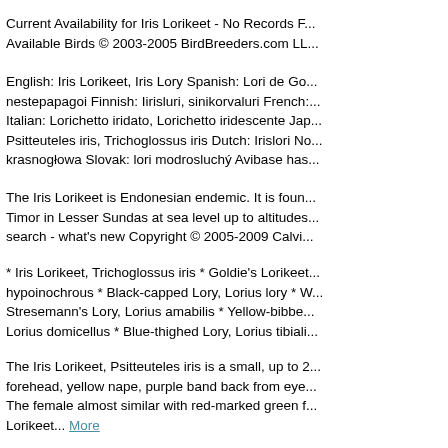Current Availability for Iris Lorikeet - No Records F... Available Birds © 2003-2005 BirdBreeders.com LL...
English: Iris Lorikeet, Iris Lory Spanish: Lori de Gol... nestepapagoi Finnish: Iirisluri, sinikorvaluri French:... Italian: Lorichetto iridato, Lorichetto iridescente Jap... Psitteuteles iris, Trichoglossus iris Dutch: Irislori No... krasnogłowa Slovak: lori modrosluchý Avibase has...
The Iris Lorikeet is Endonesian endemic. It is foun... Timor in Lesser Sundas at sea level up to altitudes... search - what's new Copyright © 2005-2009 Calvi...
* Iris Lorikeet, Trichoglossus iris * Goldie's Lorikeet... hypoinochrous * Black-capped Lory, Lorius lory * W... Stresemann's Lory, Lorius amabilis * Yellow-bibbe... Lorius domicellus * Blue-thighed Lory, Lorius tibiali...
The Iris Lorikeet, Psitteuteles iris is a small, up to 2... forehead, yellow nape, purple band back from eye... The female almost similar with red-marked green f... Lorikeet... More
Iris Lorikeet Psitteuteles iris iris - Male Iris Lorikeet...
* Iris lorikeet (Trichoglossus iris iris) ; varied lorikee... (Trichoglossus goldiei) * 1970. 1 watercolour ; 45.5... record This item has not yet been digitised. Order a... More